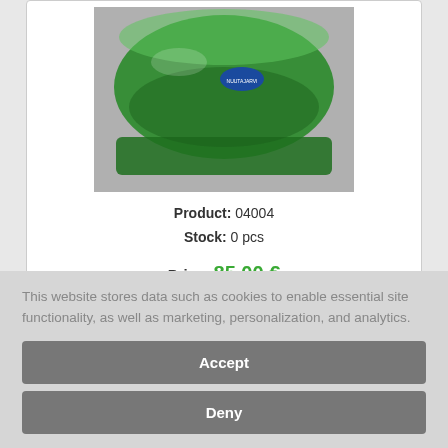[Figure (photo): Green glass bowl/container with a blue label sticker on it, photographed against a grey background]
Product: 04004
Stock: 0 pcs
Price: 85.00 €
This website stores data such as cookies to enable essential site functionality, as well as marketing, personalization, and analytics.
Accept
Deny